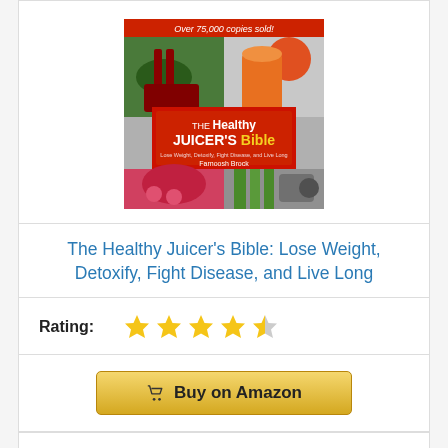[Figure (photo): Book cover of 'The Healthy Juicer's Bible' by Farnoosh Brock. Shows a collage of healthy juices and vegetables with red background title. Banner reads 'Over 75,000 copies sold!']
The Healthy Juicer's Bible: Lose Weight, Detoxify, Fight Disease, and Live Long
Rating: ★★★★½
Buy on Amazon
Bestseller No. 9